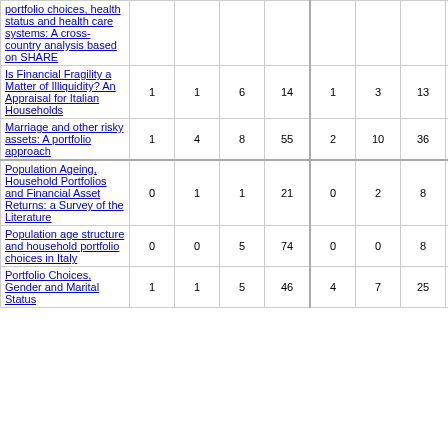| Title |  |  |  |  |  |  |  |  |
| --- | --- | --- | --- | --- | --- | --- | --- | --- |
| portfolio choices, health status and health care systems: A cross-country analysis based on SHARE |  |  |  |  |  |  |  |  |
| Is Financial Fragility a Matter of Illiquidity? An Appraisal for Italian Households | 1 | 1 | 6 | 14 | 1 | 3 | 13 | 47 |
| Marriage and other risky assets: A portfolio approach | 1 | 4 | 8 | 55 | 2 | 10 | 36 | 298 |
| Population Ageing, Household Portfolios and Financial Asset Returns: a Survey of the Literature | 0 | 1 | 1 | 21 | 0 | 2 | 8 | 129 |
| Population age structure and household portfolio choices in Italy | 0 | 0 | 5 | 74 | 0 | 0 | 8 | 259 |
| Portfolio Choices, Gender and Marital Status | 1 | 1 | 5 | 46 | 4 | 7 | 25 | 267 |